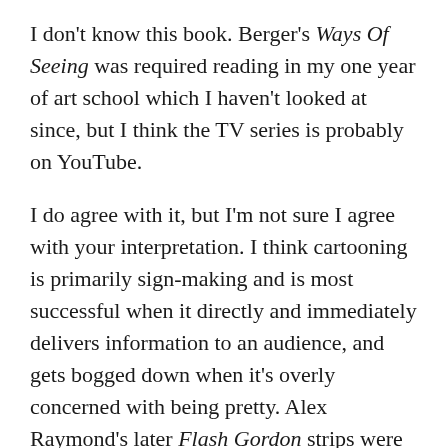I don't know this book. Berger's Ways Of Seeing was required reading in my one year of art school which I haven't looked at since, but I think the TV series is probably on YouTube.
I do agree with it, but I'm not sure I agree with your interpretation. I think cartooning is primarily sign-making and is most successful when it directly and immediately delivers information to an audience, and gets bogged down when it's overly concerned with being pretty. Alex Raymond's later Flash Gordon strips were gorgeous, but lifeless annotated illustrations, without the arresting vigor of his earlier work. The same thing happened with Masamune Shirow in a different way. Avoiding realism is a fine line to tread, and a constant struggle for me personally. Recreating the spontaneity of a doodle or